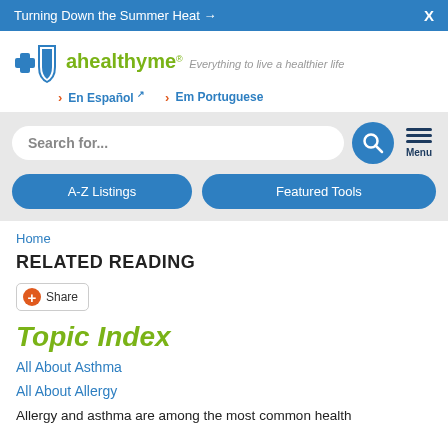Turning Down the Summer Heat →   X
[Figure (logo): Blue Cross Blue Shield plus sign and shield logo with 'ahealthyme Everything to live a healthier life' text]
› En Español ↗   › Em Portuguese
Search for...
A-Z Listings   Featured Tools
Home
RELATED READING
Share
Topic Index
All About Asthma
All About Allergy
Allergy and asthma are among the most common health